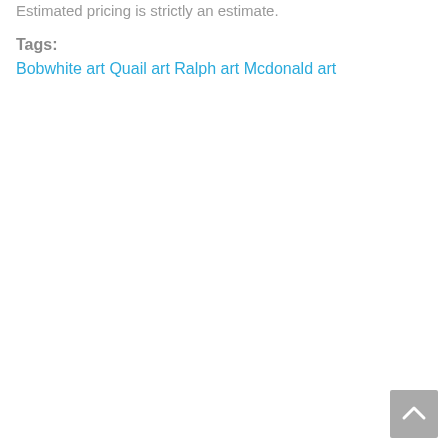Estimated pricing is strictly an estimate.
Tags:
Bobwhite art Quail art Ralph art Mcdonald art